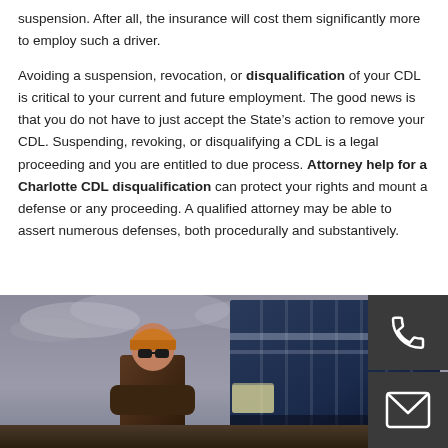suspension. After all, the insurance will cost them significantly more to employ such a driver.
Avoiding a suspension, revocation, or disqualification of your CDL is critical to your current and future employment. The good news is that you do not have to just accept the State’s action to remove your CDL. Suspending, revoking, or disqualifying a CDL is a legal proceeding and you are entitled to due process. Attorney help for a Charlotte CDL disqualification can protect your rights and mount a defense or any proceeding. A qualified attorney may be able to assert numerous defenses, both procedurally and substantively.
[Figure (photo): Photo of a truck driver in sunglasses and cap looking up at a large semi-truck, with a dramatic cloudy sky background. Contact icons (phone and envelope) overlaid in dark boxes on the right side.]